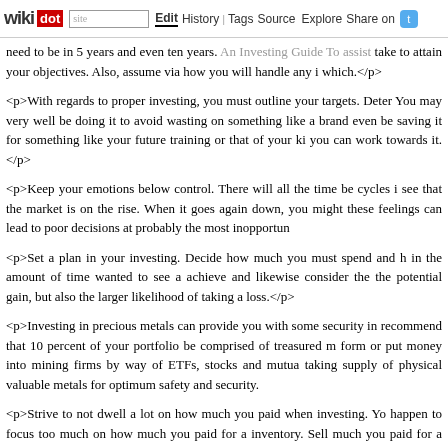wikidot | site | Edit | History | Tags | Source | Explore | Share on [Twitter]
need to be in 5 years and even ten years. An Investing Guide To assist take to attain your objectives. Also, assume via how you will handle any i which.</p>
<p>With regards to proper investing, you must outline your targets. Deter You may very well be doing it to avoid wasting on something like a brand even be saving it for something like your future training or that of your ki you can work towards it.</p>
<p>Keep your emotions below control. There will all the time be cycles i see that the market is on the rise. When it goes again down, you might these feelings can lead to poor decisions at probably the most inopportun
<p>Set a plan in your investing. Decide how much you must spend and h in the amount of time wanted to see a achieve and likewise consider the the potential gain, but also the larger likelihood of taking a loss.</p>
<p>Investing in precious metals can provide you with some security in recommend that 10 percent of your portfolio be comprised of treasured m form or put money into mining firms by way of ETFs, stocks and mutua taking supply of physical valuable metals for optimum safety and security.
<p>Strive to not dwell a lot on how much you paid when investing. Yo happen to focus too much on how much you paid for a inventory. Sell much you paid for a inventory versus how a lot you are promoting it for ca
<p>Do not go all in on an funding at once. If the stock goes down, you m That means if the stock goes down, you'll be able to reconsider whether purchase extra at a decrease price. It will decrease the worth on your othe